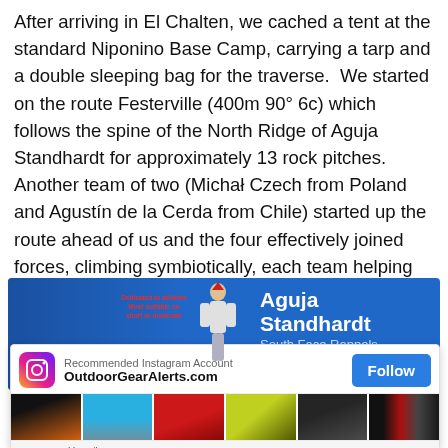After arriving in El Chalten, we cached a tent at the standard Niponino Base Camp, carrying a tarp and a double sleeping bag for the traverse.  We started on the route Festerville (400m 90° 6c) which follows the spine of the North Ridge of Aguja Standhardt for approximately 13 rock pitches.  Another team of two (Michał Czech from Poland and Agustín de la Cerda from Chile) started up the route ahead of us and the four effectively joined forces, climbing symbiotically, each team helping the other along the way.
[Figure (screenshot): Advertisement banner for 'Aguja Standhardt South Face Rappels Traversia del Torre' showing a blue background with a climber figure and red text overlay, partially obscured by an Instagram follow widget for OutdoorGearAlerts.com with outdoor gear product images and a Follow button, powered by MiloTree.]